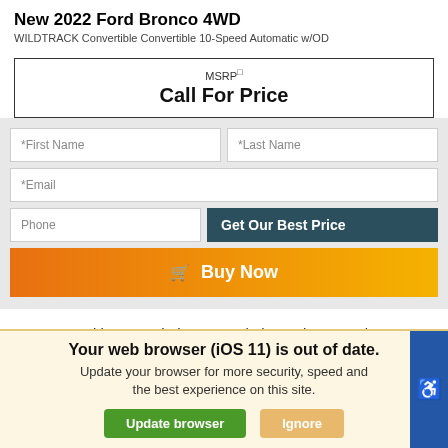New 2022 Ford Bronco 4WD
WILDTRACK Convertible Convertible 10-Speed Automatic w/OD
MSRP
Call For Price
[Figure (screenshot): Web form with fields: *First Name, *Last Name, *Email, Phone, and a 'Get Our Best Price' button]
Buy Now
We use cookies to optimize our website and our service.
Cookie Policy   Privacy Statement
Your web browser (iOS 11) is out of date. Update your browser for more security, speed and the best experience on this site.
Update browser   Ignore